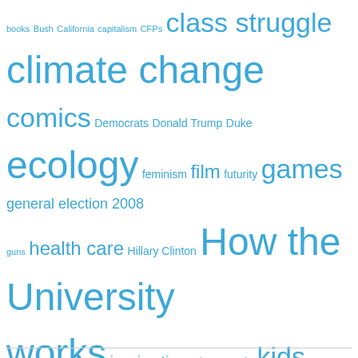books Bush California capitalism CFPs class struggle climate change comics Democrats Donald Trump Duke ecology feminism film futurity games general election 2008 guns health care Hillary Clinton How the University works immigration John McCain kids today labor literature maps Marquette Milwaukee misogyny music neoliberalism New Jersey New York North Carolina nuclearity outer space over-educated literary theory PhDs pedagogy politics polls prison-industrial complex race racism rape rape culture Republicans science science fiction sexism Star Trek Star Wars student debt Supreme Court teaching television the courts the humanities the law the Senate unions Utopia war on education Wisconsin Won't somebody think of the children? writing